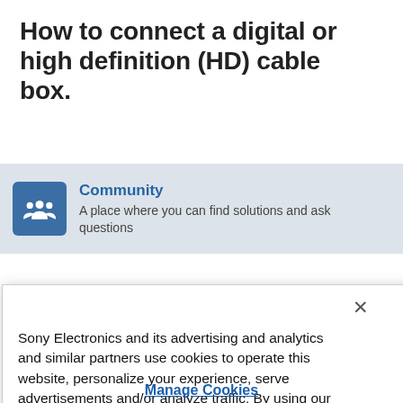How to connect a digital or high definition (HD) cable box.
[Figure (screenshot): Community section with blue icon showing group of people, link text 'Community' in blue, and description 'A place where you can find solutions and ask questions']
Sony Electronics and its advertising and analytics and similar partners use cookies to operate this website, personalize your experience, serve advertisements and/or analyze traffic. By using our site, you acknowledge this notice and agree to the use of cookies on our site and to our Privacy Policy.
Manage Cookies